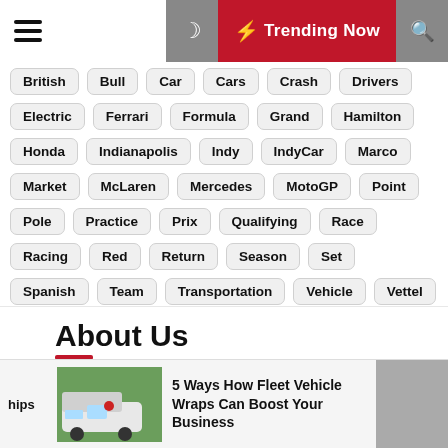☰ 🌙 ⚡ Trending Now 🔍
British
Bull
Car
Cars
Crash
Drivers
Electric
Ferrari
Formula
Grand
Hamilton
Honda
Indianapolis
Indy
IndyCar
Marco
Market
McLaren
Mercedes
MotoGP
Point
Pole
Practice
Prix
Qualifying
Race
Racing
Red
Return
Season
Set
Spanish
Team
Transportation
Vehicle
Vettel
Win
About Us
hips
5 Ways How Fleet Vehicle Wraps Can Boost Your Business